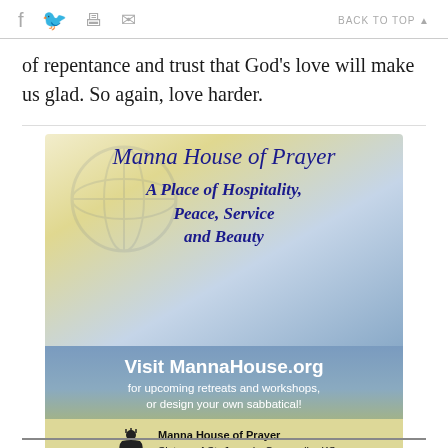f [twitter] [print] [mail]   BACK TO TOP ▲
of repentance and trust that God's love will make us glad. So again, love harder.
[Figure (illustration): Advertisement for Manna House of Prayer. Top half has gradient background (cream to blue) with watermark globe/cross symbol. Script text: 'Manna House of Prayer'. Italic bold blue text: 'A Place of Hospitality, Peace, Service and Beauty'. Bottom half gradient blue to yellow: 'Visit MannaHouse.org for upcoming retreats and workshops, or design your own sabbatical!' Gold bar at bottom with logo and text: 'Manna House of Prayer Sisters of St. Joseph, Concordia, KS']